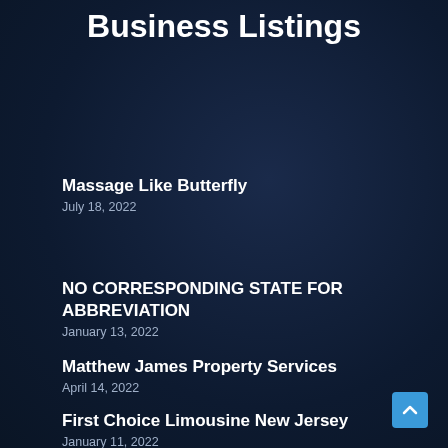Business Listings
Massage Like Butterfly
July 18, 2022
NO CORRESPONDING STATE FOR ABBREVIATION
January 13, 2022
Matthew James Property Services
April 14, 2022
First Choice Limousine New Jersey
January 11, 2022